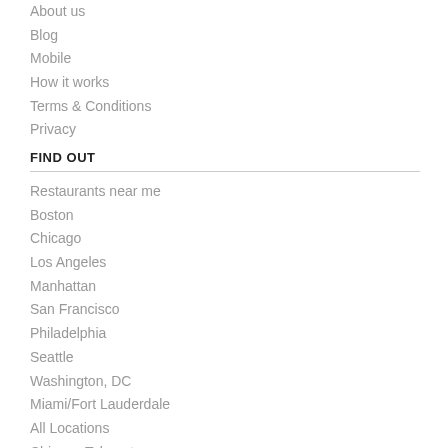About us
Blog
Mobile
How it works
Terms & Conditions
Privacy
FIND OUT
Restaurants near me
Boston
Chicago
Los Angeles
Manhattan
San Francisco
Philadelphia
Seattle
Washington, DC
Miami/Fort Lauderdale
All Locations
Chinese Takeout
Pizza Delivery
Indian Takeout
All Cuisines
Sitemap